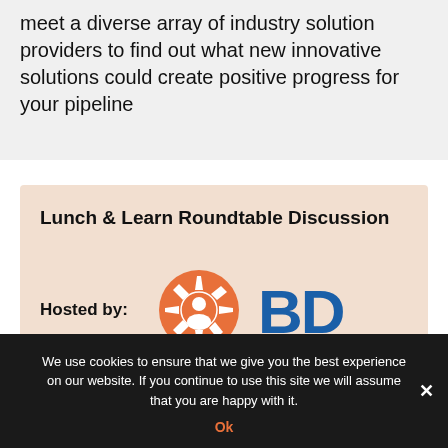meet a diverse array of industry solution providers to find out what new innovative solutions could create positive progress for your pipeline
Lunch & Learn Roundtable Discussion
Hosted by:
[Figure (logo): Two sponsor logos: an orange sunburst/globe icon logo and BD (Becton Dickinson) blue text logo]
We use cookies to ensure that we give you the best experience on our website. If you continue to use this site we will assume that you are happy with it.
Ok